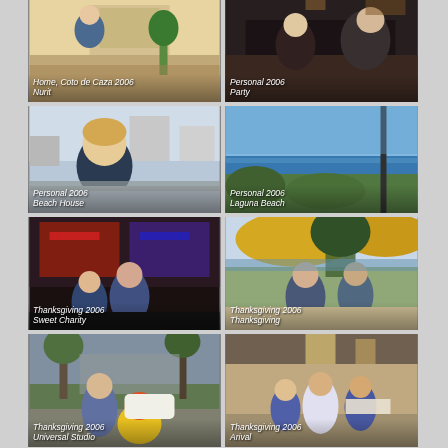[Figure (photo): Indoor photo of a man in a home setting, Coto de Caza 2006, caption: Home, Coto de Caza 2006 / Nurit]
[Figure (photo): Two women at a party in a dark restaurant or bar setting, caption: Personal 2006 / Party]
[Figure (photo): Young boy at a beach house location, caption: Personal 2006 / Beach House]
[Figure (photo): Ocean view with blue sky and coastline, caption: Personal 2006 / Laguna Beach]
[Figure (photo): People at a theater or charity event with colorful stage backdrop, caption: Thanksgiving 2006 / Sweet Charity]
[Figure (photo): People outdoors under yellow umbrellas with ocean view, caption: Thanksgiving 2006 / Thanksgiving]
[Figure (photo): People at Universal Studios with costumed character, caption: Thanksgiving 2006 / Universal Studio]
[Figure (photo): People in hotel lobby or arrivals area, caption: Thanksgiving 2006 / Arival]
[Figure (photo): Partial photo at bottom left, cut off]
[Figure (photo): Partial photo at bottom right, architectural/exterior, cut off]